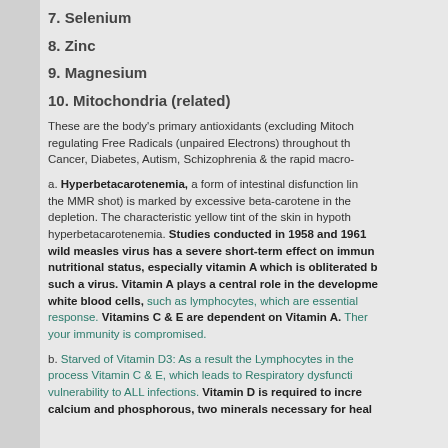7. Selenium
8. Zinc
9. Magnesium
10. Mitochondria (related)
These are the body's primary antioxidants (excluding Mitochondria) regulating Free Radicals (unpaired Electrons) throughout the body. Cancer, Diabetes, Autism, Schizophrenia & the rapid macro-
a. Hyperbetacarotenemia, a form of intestinal disfunction linked to ( the MMR shot) is marked by excessive beta-carotene in the ... depletion. The characteristic yellow tint of the skin in hypothyroidism & hyperbetacarotenemia. Studies conducted in 1958 and 1961 wild measles virus has a severe short-term effect on immune nutritional status, especially vitamin A which is obliterated by such a virus. Vitamin A plays a central role in the development of white blood cells, such as lymphocytes, which are essential to immune response. Vitamins C & E are dependent on Vitamin A. Therefore your immunity is compromised.
b. Starved of Vitamin D3: As a result the Lymphocytes in the ... process Vitamin C & E, which leads to Respiratory dysfunction ... vulnerability to ALL infections. Vitamin D is required to increase calcium and phosphorous, two minerals necessary for health...